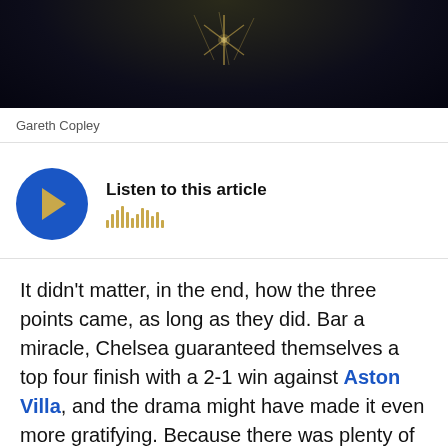[Figure (photo): Dark background photo banner, likely a sports photograph with bokeh lighting effects and sparkle/flare elements visible against a dark blue/black background]
Gareth Copley
[Figure (other): Audio player widget with blue circular play button featuring a gold triangle/speaker icon and waveform lines, with text 'Listen to this article' and a waveform animation]
It didn't matter, in the end, how the three points came, as long as they did. Bar a miracle, Chelsea guaranteed themselves a top four finish with a 2-1 win against Aston Villa, and the drama might have made it even more gratifying. Because there was plenty of drama. A major club record broken by Frank Lampard? Check. Red cards? Check. Injuries? Check. That it was a come-from-behind victory in a match this important seemed almost an afterthought.